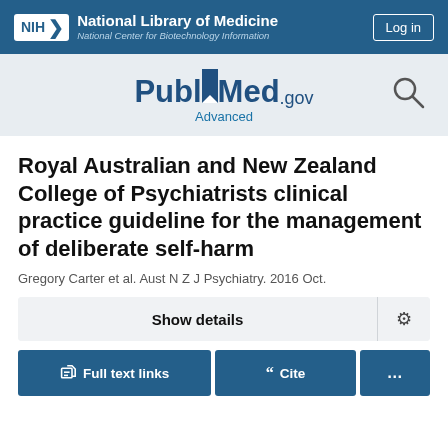[Figure (logo): NIH National Library of Medicine / National Center for Biotechnology Information header bar with Log in button]
[Figure (logo): PubMed.gov logo with search icon and Advanced link]
Royal Australian and New Zealand College of Psychiatrists clinical practice guideline for the management of deliberate self-harm
Gregory Carter et al. Aust N Z J Psychiatry. 2016 Oct.
Show details
Full text links   Cite   ...